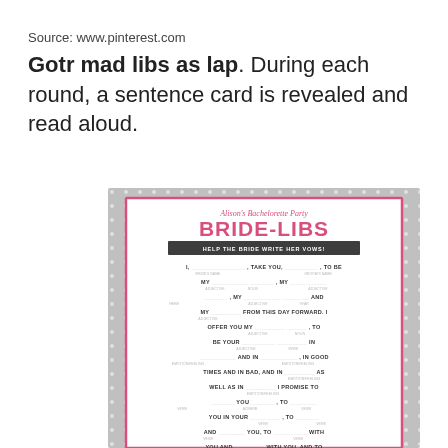Source: www.pinterest.com
Gotr mad libs as lap. During each round, a sentence card is revealed and read aloud.
[Figure (illustration): Bride-Libs bachelorette party mad libs card with pink and grey polka dot design. Shows fill-in-the-blank wedding vows template titled 'Alison's Bachelorette Party BRIDE-LIBS - Help the Bride Write Her Vows!']